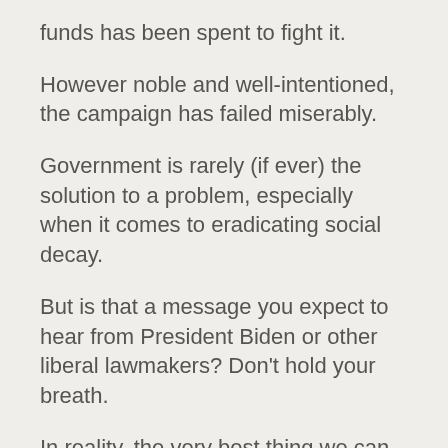funds has been spent to fight it.
However noble and well-intentioned, the campaign has failed miserably.
Government is rarely (if ever) the solution to a problem, especially when it comes to eradicating social decay.
But is that a message you expect to hear from President Biden or other liberal lawmakers? Don't hold your breath.
In reality, the very best thing we can do to help eradicate poverty is to strengthen marriages and families.
Why?